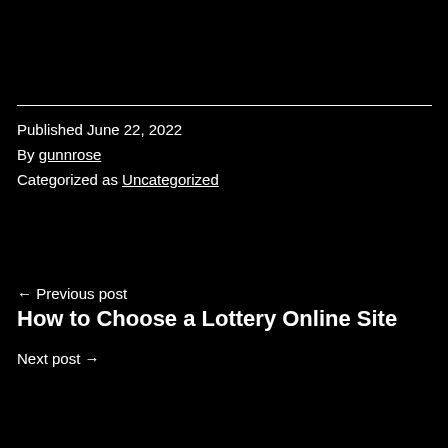Published June 22, 2022
By gunnrose
Categorized as Uncategorized
← Previous post
How to Choose a Lottery Online Site
Next post →